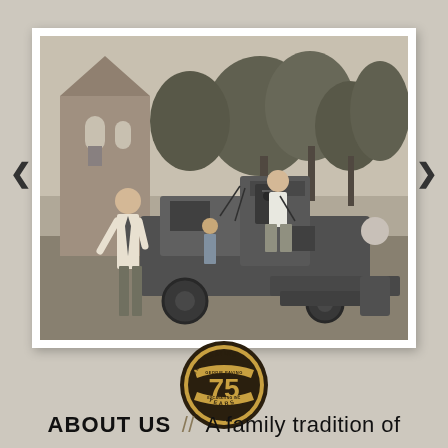[Figure (photo): Vintage black-and-white photograph showing two men with a large paving machine on a street. One man stands beside the machine in a white shirt and tie, another sits atop the machine operating it. Trees and a church or brick building are visible in the background. Navigation arrows appear on both sides of the photo frame.]
[Figure (logo): Circular badge/logo with gold and dark coloring. Center shows '75' in large gold numerals. Text around the badge reads 'CELEBRATING' at the top and 'YEARS' at the bottom, with additional text 'GEDDIE PAVING & EXCAVATING INC' around the perimeter.]
ABOUT US // A family tradition of